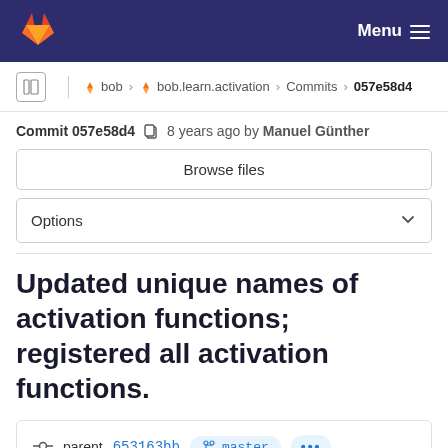Menu
bob › bob.learn.activation › Commits › 057e58d4
Commit 057e58d4  8 years ago by Manuel Günther
Browse files
Options
Updated unique names of activation functions; registered all activation functions.
parent 653163bb  master  ...
No related merge requests found